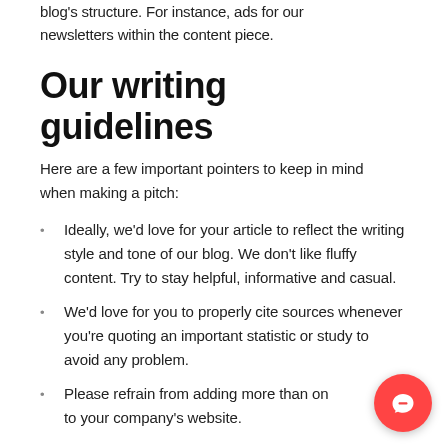blog's structure. For instance, ads for our newsletters within the content piece.
Our writing guidelines
Here are a few important pointers to keep in mind when making a pitch:
Ideally, we'd love for your article to reflect the writing style and tone of our blog. We don't like fluffy content. Try to stay helpful, informative and casual.
We'd love for you to properly cite sources whenever you're quoting an important statistic or study to avoid any problem.
Please refrain from adding more than on… to your company's website.